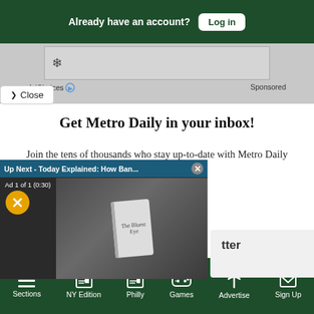Already have an account? Log in
[Figure (screenshot): Advertisement area with AdChoices icon and Sponsored label]
Close
Get Metro Daily in your inbox!
Join the tens of thousands who stay up-to-date with Metro Daily newsletters.
[Figure (screenshot): Video player overlay: Up Next - Today Explained: How Ban... Ad 1 of 1 (0:30), showing person reading a book, with mute button and close X]
tter
Sections  NY Edition  Philly  Games  Advertise  Sign Up